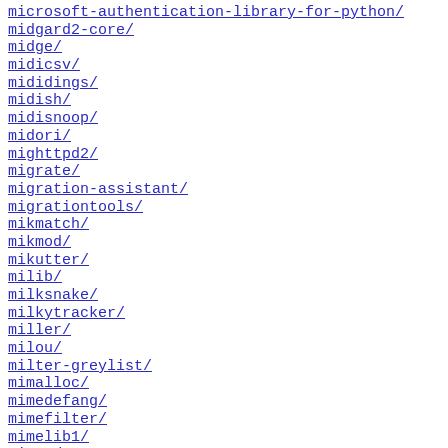microsoft-authentication-library-for-python/
midgard2-core/
midge/
midicsv/
mididings/
midish/
midisnoop/
midori/
mighttpd2/
migrate/
migration-assistant/
migrationtools/
mikmatch/
mikmod/
mikutter/
milib/
milksnake/
milkytracker/
miller/
milou/
milter-greylist/
mimalloc/
mimedefang/
mimefilter/
mimelib1/
mimeo/
mimepull/
mimerender/
mimetex/
mimetic/